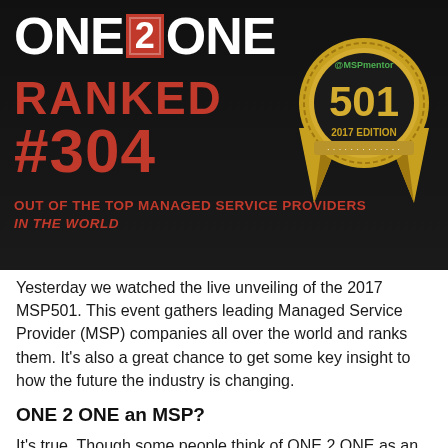[Figure (infographic): Dark banner with ONE 2 ONE logo (large bold white text with orange/red '2' in a box), text 'RANKED #304 OUT OF THE TOP MANAGED SERVICE PROVIDERS IN THE WORLD' in red, and a gold MSPmentor 501 2017 Edition medal badge on the right.]
Yesterday we watched the live unveiling of the 2017 MSP501. This event gathers leading Managed Service Provider (MSP) companies all over the world and ranks them. It’s also a great chance to get some key insight to how the future the industry is changing.
ONE 2 ONE an MSP?
It’s true. Though some people think of ONE 2 ONE as an IT Consultant. Some might call us a technology support